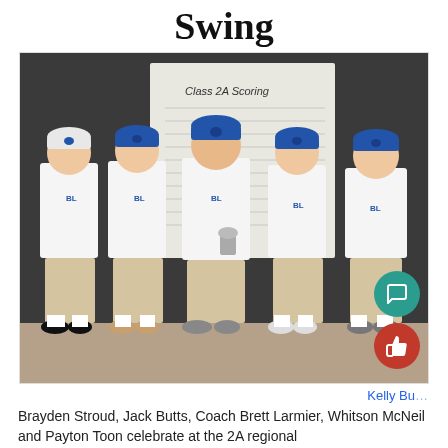Swing
[Figure (photo): Five people (four students and a coach) in white polo shirts and khaki shorts posing in front of a Class 2A Scoring scoreboard. They are wearing blue caps. The coach in the center is holding a trophy or award.]
Kelly Bu
Brayden Stroud, Jack Butts, Coach Brett Larmier, Whitson McNeil and Payton Toon celebrate at the 2A regional